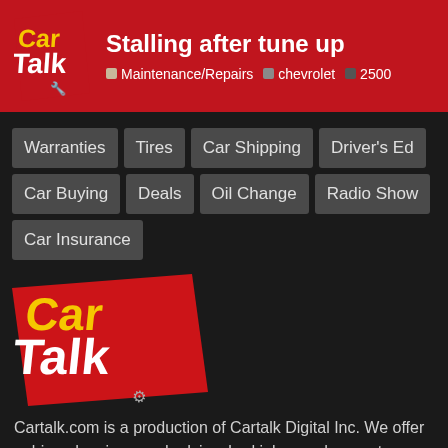Stalling after tune up | Maintenance/Repairs · chevrolet · 2500
Warranties
Tires
Car Shipping
Driver's Ed
Car Buying
Deals
Oil Change
Radio Show
Car Insurance
[Figure (logo): Car Talk logo — red parallelogram shape with yellow 'Car' and white 'Talk' text with a wrench graphic]
Cartalk.com is a production of Cartalk Digital Inc. We offer unbiased reviews and advice, bad jokes and a great community for car owners and shoppers. Happy driving and we hope you visit us like we do the...